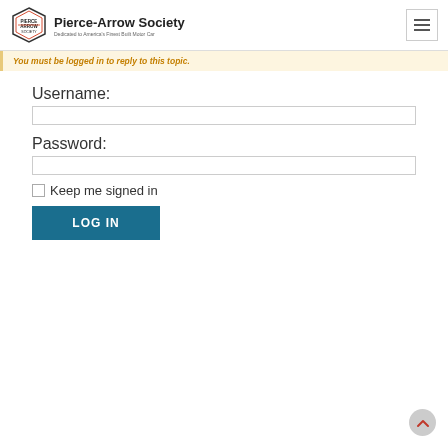Pierce-Arrow Society — Dedicated to America's Finest Built Motor Car
You must be logged in to reply to this topic.
Username:
Password:
Keep me signed in
LOG IN